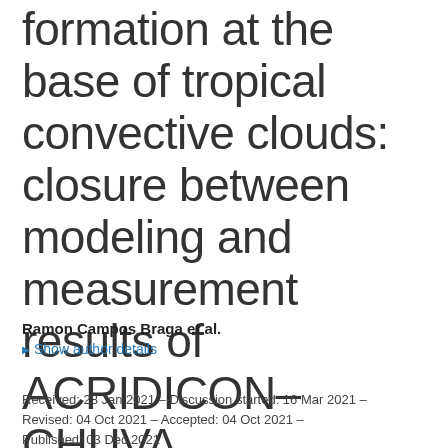formation at the base of tropical convective clouds: closure between modeling and measurement results of ACRIDICON–CHUVA
Ramon Campos Braga et al.
Show author details
Received: 28 Jan 2021 – Discussion started: 16 Mar 2021 – Revised: 04 Oct 2021 – Accepted: 04 Oct 2021 – Published: 03 Dec 2021